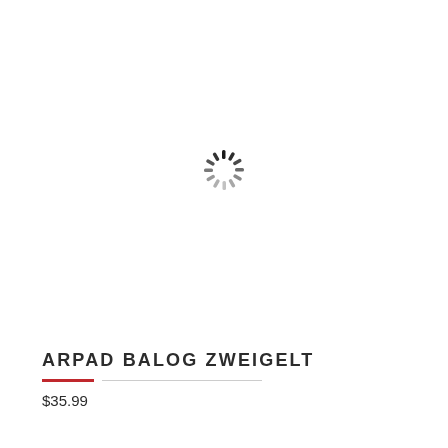[Figure (illustration): Loading spinner icon — circular arrangement of short dashes/strokes in varying shades from dark to light gray, radiating from center, indicating a loading state. Positioned at center of white image area.]
ARPAD BALOG ZWEIGELT
$35.99